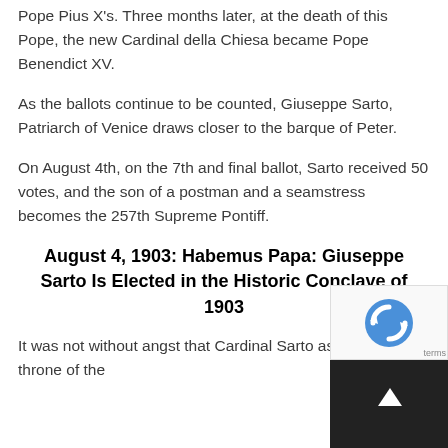Pope Pius X's. Three months later, at the death of this Pope, the new Cardinal della Chiesa became Pope Benendict XV.
As the ballots continue to be counted, Giuseppe Sarto, Patriarch of Venice draws closer to the barque of Peter.
On August 4th, on the 7th and final ballot, Sarto received 50 votes, and the son of a postman and a seamstress becomes the 257th Supreme Pontiff.
August 4, 1903: Habemus Papa: Giuseppe Sarto Is Elected in the Historic Conclave of 1903
It was not without angst that Cardinal Sarto ascended to the throne of the